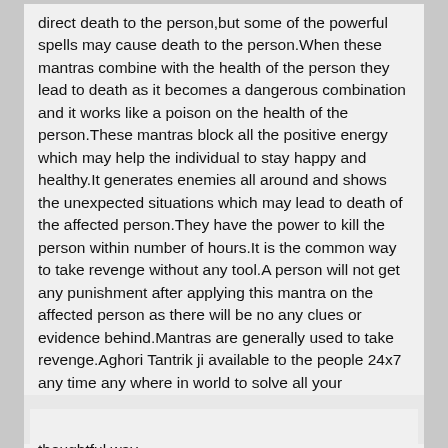direct death to the person,but some of the powerful spells may cause death to the person.When these mantras combine with the health of the person they lead to death as it becomes a dangerous combination and it works like a poison on the health of the person.These mantras block all the positive energy which may help the individual to stay happy and healthy.It generates enemies all around and shows the unexpected situations which may lead to death of the affected person.They have the power to kill the person within number of hours.It is the common way to take revenge without any tool.A person will not get any punishment after applying this mantra on the affected person as there will be no any clues or evidence behind.Mantras are generally used to take revenge.Aghori Tantrik ji available to the people 24x7 any time any where in world to solve all your problems and remove hindrances do one call and then see the results so the life goes in joyful way and thoughtful way